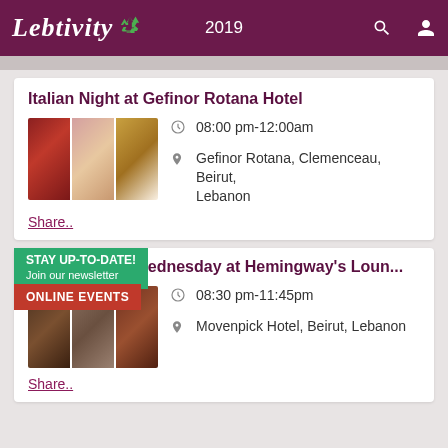Lebtivity 2019
Italian Night at Gefinor Rotana Hotel
[Figure (photo): Three food/drink photos: wine glass, woman with drink, Italian food]
08:00 pm-12:00am
Gefinor Rotana, Clemenceau, Beirut, Lebanon
Share..
e Night every Wednesday at Hemingway's Loun...
[Figure (photo): Restaurant/lounge food photos with overlay banners: STAY UP-TO-DATE! Join our newsletter and ONLINE EVENTS]
08:30 pm-11:45pm
Movenpick Hotel, Beirut, Lebanon
Share..